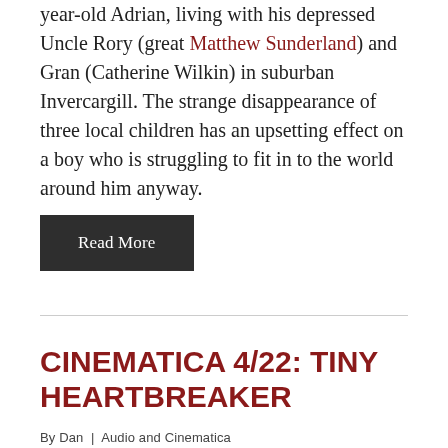year-old Adrian, living with his depressed Uncle Rory (great Matthew Sunderland) and Gran (Catherine Wilkin) in suburban Invercargill. The strange disappearance of three local children has an upsetting effect on a boy who is struggling to fit in to the world around him anyway.
Read More
CINEMATICA 4/22: TINY HEARTBREAKER
By Dan  |  Audio and Cinematica